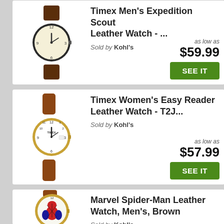[Figure (photo): Timex Men's Expedition Scout Leather Watch with dark case and brown leather strap]
Timex Men's Expedition Scout Leather Watch - ...
Sold by Kohl's
as low as $59.99
[Figure (photo): Timex Women's Easy Reader Leather Watch with gold tone case and brown leather strap]
Timex Women's Easy Reader Leather Watch - T2J...
Sold by Kohl's
as low as $57.99
[Figure (photo): Marvel Spider-Man Leather Watch, Men's, Brown with Spider-Man illustrated dial]
Marvel Spider-Man Leather Watch, Men's, Brown
Sold by Kohl's